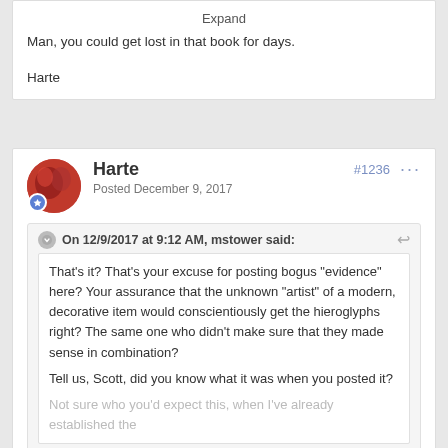Expand
Man, you could get lost in that book for days.
Harte
Harte
Posted December 9, 2017
#1236
On 12/9/2017 at 9:12 AM, mstower said:
That’s it?  That’s your excuse for posting bogus “evidence” here?  Your assurance that the unknown “artist” of a modern, decorative item would conscientiously get the hieroglyphs right?  The same one who didn’t make sure that they made sense in combination?
Tell us, Scott, did you know what it was when you posted it?
Not sure who you’d expect this, when I’ve already established the
Expand